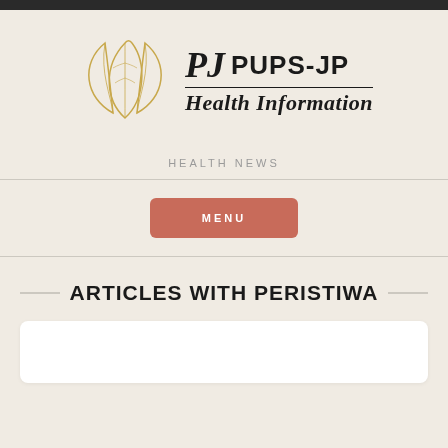[Figure (logo): PUPS-JP Health Information logo with a gold leaf/flower outline SVG icon and bold text]
HEALTH NEWS
MENU
ARTICLES WITH PERISTIWA